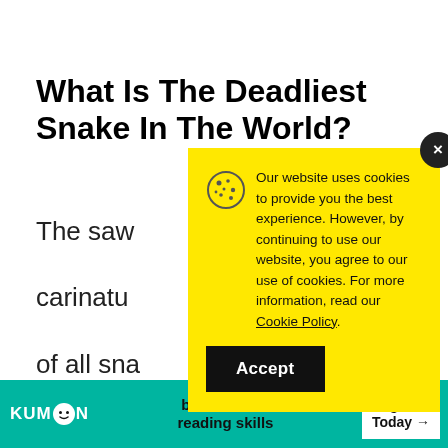What Is The Deadliest Snake In The World?
The saw... carinatu... of all sna... is respon... deaths t...
[Figure (screenshot): Cookie consent modal overlay with yellow background, cookie icon, text about website cookies policy, Cookie Policy underlined link, and Accept button. Close button (×) in dark circle at top right corner.]
[Figure (illustration): Kumon advertisement banner with teal background showing KUMON logo, 'build critical reading skills' text in bold, and 'Register Today →' button on white background.]